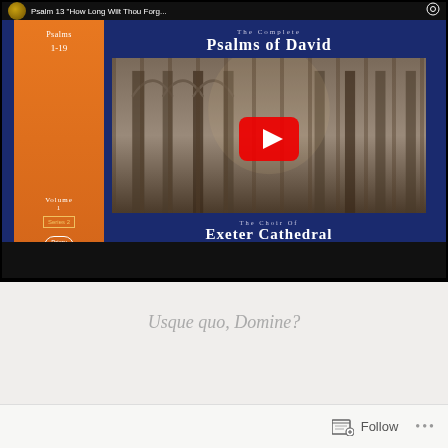[Figure (screenshot): YouTube video thumbnail showing album cover of 'The Complete Psalms of David' by The Choir of Exeter Cathedral, with a YouTube play button overlay. Album shows a gothic cathedral interior, orange spine with 'Psalms 1-19 Volume 1 Series 2 Priory', and blue panel with title text. Organ: Paul Morgan, Directed by Andrew Millington.]
Usque quo, Domine?
Follow